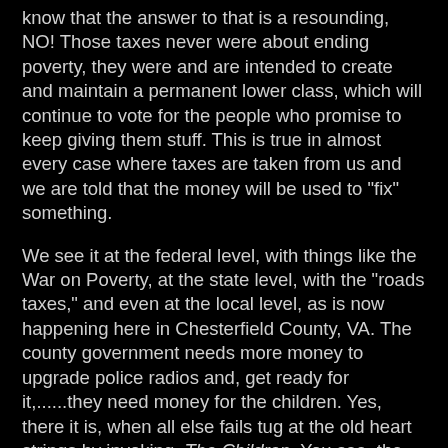know that the answer to that is a resounding, NO! Those taxes never were about ending poverty, they were and are intended to create and maintain a permanent lower class, which will continue to vote for the people who promise to keep giving them stuff. This is true in almost every case where taxes are taken from us and we are told that the money will be used to "fix" something.

We see it at the federal level, with things like the War on Poverty, at the state level, with the "roads taxes," and even at the local level, as is now happening here in Chesterfield County, VA. The county government needs more money to upgrade police radios and, get ready for it,......they need money for the children. Yes, there it is, when all else fails tug at the old heart strings by invoking, The Children. You see, the schools need upgrading, renovations must be made to make for a better "learning environment." Here's one thing you can do if you want a better learning environment, get the federal government out of our schools. OK, I apologize for digressing, but I had to get that out of my system. Back to my point: Why do they need more money? Where has the money they have been collecting been going? Has the government, at all levels, even tried to cut